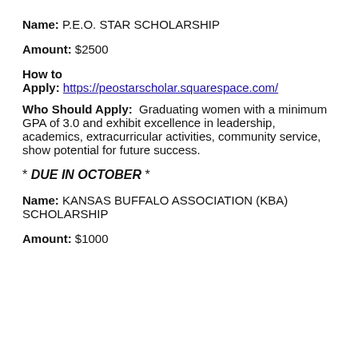Name: P.E.O. STAR SCHOLARSHIP
Amount: $2500
How to Apply: https://peostarscholar.squarespace.com/
Who Should Apply: Graduating women with a minimum GPA of 3.0 and exhibit excellence in leadership, academics, extracurricular activities, community service, show potential for future success.
* DUE IN OCTOBER *
Name: KANSAS BUFFALO ASSOCIATION (KBA) SCHOLARSHIP
Amount: $1000